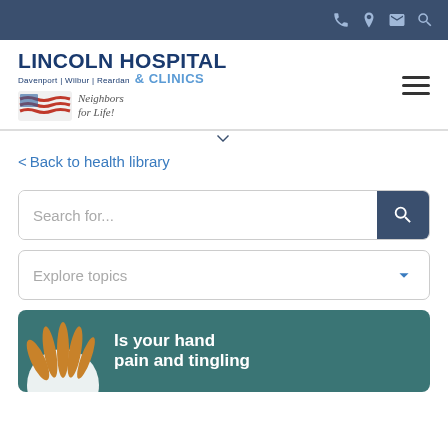[Figure (screenshot): Top navigation bar with dark blue background showing phone, location, email, and search icons on the right side]
[Figure (logo): Lincoln Hospital & Clinics logo with Davenport | Wilbur | Reardan subtitle, American flag-style graphic, and 'Neighbors for Life!' tagline. Hamburger menu icon on the right.]
< Back to health library
[Figure (screenshot): Search box with placeholder text 'Search for...' and a dark blue search button with magnifying glass icon]
[Figure (screenshot): Explore topics dropdown box with chevron down icon]
[Figure (illustration): Article card with teal background showing a hand illustration on the left and text 'Is your hand pain and tingling' on the right in white bold text]